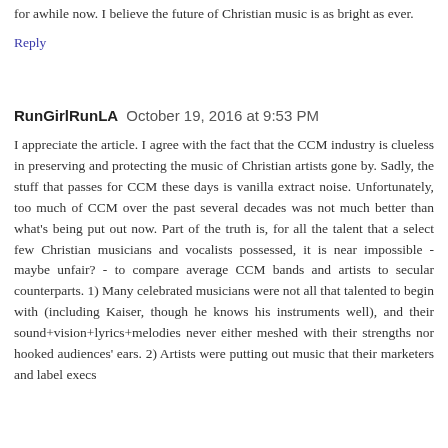for awhile now. I believe the future of Christian music is as bright as ever.
Reply
RunGirlRunLA  October 19, 2016 at 9:53 PM
I appreciate the article. I agree with the fact that the CCM industry is clueless in preserving and protecting the music of Christian artists gone by. Sadly, the stuff that passes for CCM these days is vanilla extract noise. Unfortunately, too much of CCM over the past several decades was not much better than what's being put out now. Part of the truth is, for all the talent that a select few Christian musicians and vocalists possessed, it is near impossible - maybe unfair? - to compare average CCM bands and artists to secular counterparts. 1) Many celebrated musicians were not all that talented to begin with (including Kaiser, though he knows his instruments well), and their sound+vision+lyrics+melodies never either meshed with their strengths nor hooked audiences' ears. 2) Artists were putting out music that their marketers and label execs